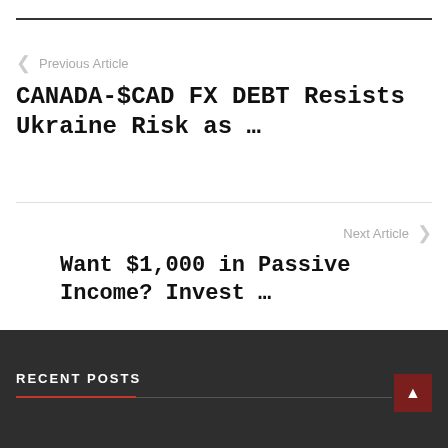Previous Article
CANADA-$CAD FX DEBT Resists Ukraine Risk as …
Next Article
Want $1,000 in Passive Income? Invest …
RECENT POSTS
RECENT POSTS